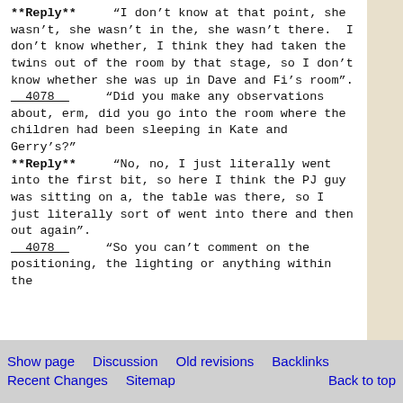**Reply**  “I don’t know at that point, she wasn’t, she wasn’t in the, she wasn’t there.  I don’t know whether, I think they had taken the twins out of the room by that stage, so I don’t know whether she was up in Dave and Fi’s room”.
__4078__   “Did you make any observations about, erm, did you go into the room where the children had been sleeping in Kate and Gerry’s?”
**Reply**    “No, no, I just literally went into the first bit, so here I think the PJ guy was sitting on a, the table was there, so I just literally sort of went into there and then out again”.
__4078__    “So you can’t comment on the positioning, the lighting or anything within the
Show page   Discussion   Old revisions   Backlinks
Recent Changes   Sitemap   Back to top